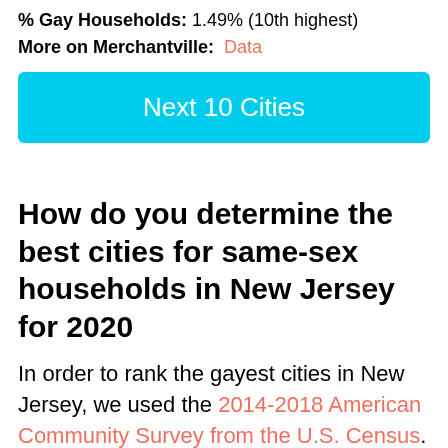% Gay Households: 1.49% (10th highest)
More on Merchantville: Data
Next 10 Cities
How do you determine the best cities for same-sex households in New Jersey for 2020
In order to rank the gayest cities in New Jersey, we used the 2014-2018 American Community Survey from the U.S. Census. We looked at: